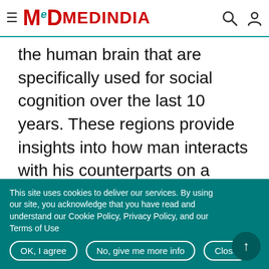MEDINDIA
the human brain that are specifically used for social cognition over the last 10 years. These regions provide insights into how man interacts with his counterparts on a social scale.
A new study in the July/August 2009 issue of the journal Child Development investigates these brain regions for the first time in human children. The study has
This site uses cookies to deliver our services. By using our site, you acknowledge that you have read and understand our Cookie Policy, Privacy Policy, and our Terms of Use